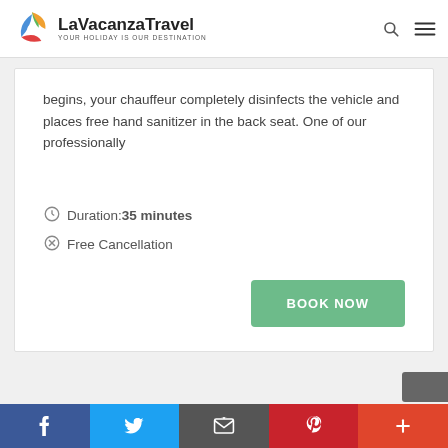LaVacanzaTravel — YOUR HOLIDAY IS OUR DESTINATION
begins, your chauffeur completely disinfects the vehicle and places free hand sanitizer in the back seat. One of our professionally
Duration:35 minutes
Free Cancellation
BOOK NOW